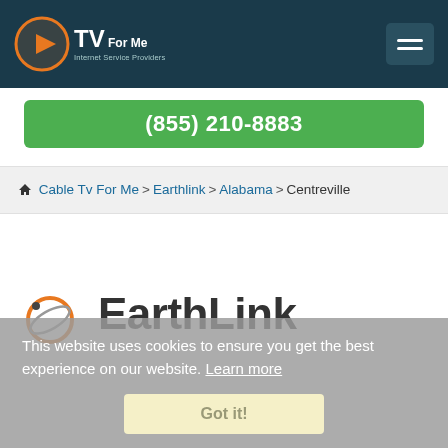CTV For Me - Internet Service Providers | (855) 210-8883
Cable Tv For Me > Earthlink > Alabama > Centreville
[Figure (logo): EarthLink logo with orbital graphic and text]
This website uses cookies to ensure you get the best experience on our website. Learn more
Got it!
EarthLink in Centreville, AL